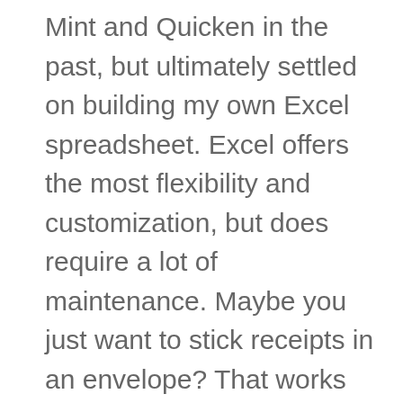Mint and Quicken in the past, but ultimately settled on building my own Excel spreadsheet. Excel offers the most flexibility and customization, but does require a lot of maintenance. Maybe you just want to stick receipts in an envelope? That works too! However you choose to track your spending, the general idea is that you pay attention, in excruciating detail, to how much you are spending on what. Don't make any changes in your spending habits at first. Just watch and learn. Chances are, at some point, you